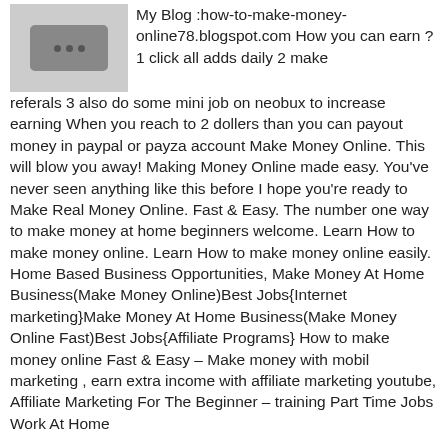[Figure (illustration): Small gray square image placeholder with a dark rounded rectangle and three dots inside, resembling a media or blog icon.]
My Blog :how-to-make-money-online78.blogspot.com How you can earn ? 1 click all adds daily 2 make referals 3 also do some mini job on neobux to increase earning When you reach to 2 dollers than you can payout money in paypal or payza account Make Money Online. This will blow you away! Making Money Online made easy. You've never seen anything like this before I hope you're ready to Make Real Money Online. Fast & Easy. The number one way to make money at home beginners welcome. Learn How to make money online. Learn How to make money online easily. Home Based Business Opportunities, Make Money At Home Business(Make Money Online)Best Jobs{Internet marketing}Make Money At Home Business(Make Money Online Fast)Best Jobs{Affiliate Programs} How to make money online Fast & Easy – Make money with mobil marketing , earn extra income with affiliate marketing youtube, Affiliate Marketing For The Beginner – training Part Time Jobs Work At Home